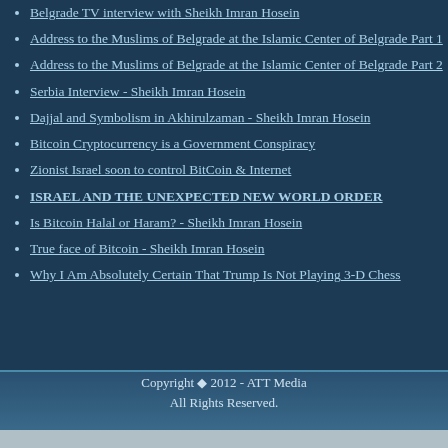Belgrade TV interview with Sheikh Imran Hosein
Address to the Muslims of Belgrade at the Islamic Center of Belgrade Part 1
Address to the Muslims of Belgrade at the Islamic Center of Belgrade Part 2
Serbia Interview - Sheikh Imran Hosein
Dajjal and Symbolism in Akhirulzaman - Sheikh Imran Hosein
Bitcoin Cryptocurrency is a Government Conspiracy
Zionist Israel soon to control BitCoin & Internet
ISRAEL AND THE UNEXPECTED NEW WORLD ORDER
Is Bitcoin Halal or Haram? - Sheikh Imran Hosein
True face of Bitcoin - Sheikh Imran Hosein
Why I Am Absolutely Certain That Trump Is Not Playing 3-D Chess
Copyright © 2012 - ATT Media All Rights Reserved.
Designed by Akanke Creative.